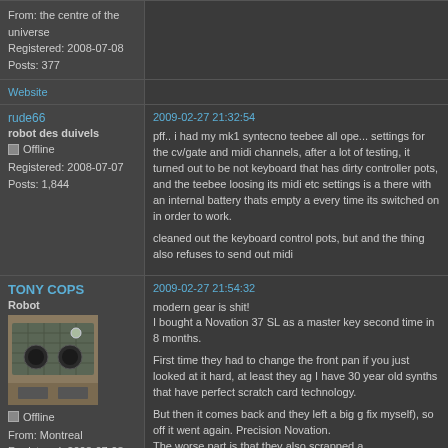From: the centre of the universe
Registered: 2008-07-08
Posts: 377
Website
rude66
robot des duivels
Offline
Registered: 2008-07-07
Posts: 1,844
2009-02-27 21:32:54

pff.. i had my mk1 syntecno teebee all ope... settings for the cv/gate and midi channels, after a lot of testing, it turned out to be not keyboard that has dirty controller pots, and the teebee loosing its midi etc settings is a there with an internal battery thats empty a every time its switched on in order to work.

cleaned out the keyboard control pots, but and the thing also refuses to send out midi
TONY COPS
Robot
Offline
From: Montreal
Registered: 2008-07-08
Posts: 980
2009-02-27 21:54:32

modern gear is shit!
I bought a Novation 37 SL as a master key second time in 8 months.

First time they had to change the front pan if you just looked at it hard, at least they ag I have 30 year old synths that have perfect scratch card technology.

But then it comes back and they left a big g fix myself), so off it went again. Precision Novation.
The worse part is that they also scrapped a